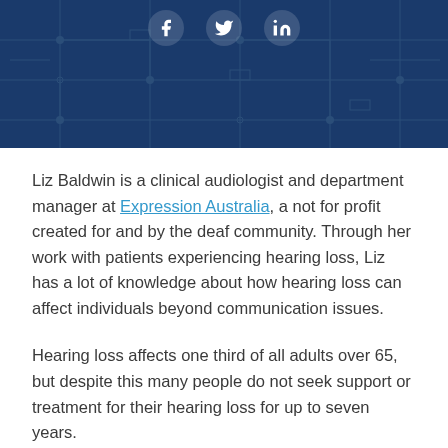[Figure (other): Dark blue banner header with circuit board pattern overlay and three social media icons (Facebook, Twitter, LinkedIn) at the top]
Liz Baldwin is a clinical audiologist and department manager at Expression Australia, a not for profit created for and by the deaf community. Through her work with patients experiencing hearing loss, Liz has a lot of knowledge about how hearing loss can affect individuals beyond communication issues.
Hearing loss affects one third of all adults over 65, but despite this many people do not seek support or treatment for their hearing loss for up to seven years.
But Liz highlights a positive future. Thanks to